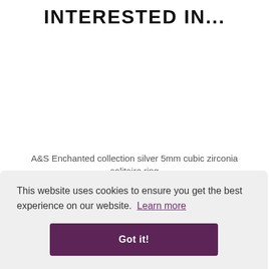INTERESTED IN...
[Figure (photo): Product image area for A&S Enchanted collection silver 5mm cubic zirconia solitaire ring (image not visible)]
A&S Enchanted collection silver 5mm cubic zirconia solitaire ring
£30.00
This website uses cookies to ensure you get the best experience on our website.  Learn more
Got it!